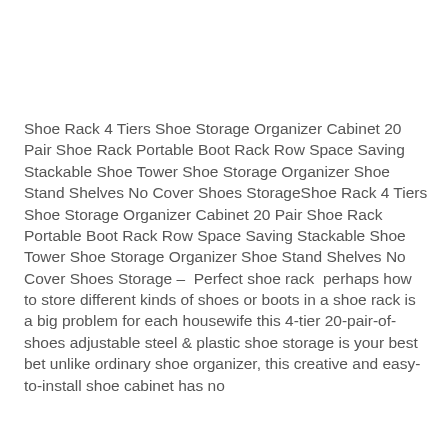Shoe Rack 4 Tiers Shoe Storage Organizer Cabinet 20 Pair Shoe Rack Portable Boot Rack Row Space Saving Stackable Shoe Tower Shoe Storage Organizer Shoe Stand Shelves No Cover Shoes StorageShoe Rack 4 Tiers Shoe Storage Organizer Cabinet 20 Pair Shoe Rack Portable Boot Rack Row Space Saving Stackable Shoe Tower Shoe Storage Organizer Shoe Stand Shelves No Cover Shoes Storage –  Perfect shoe rack  perhaps how to store different kinds of shoes or boots in a shoe rack is a big problem for each housewife this 4-tier 20-pair-of-shoes adjustable steel & plastic shoe storage is your best bet unlike ordinary shoe organizer, this creative and easy-to-install shoe cabinet has no